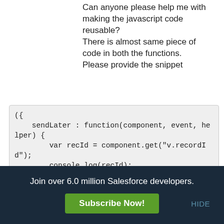Can anyone please help me with making the javascript code reusable?
There is almost same piece of code in both the functions.
Please provide the snippet
[Figure (screenshot): Code block showing JavaScript object with sendLater function containing variable declarations and console.log statements]
Join over 6.0 million Salesforce developers.
Subscribe Now!
HIDE